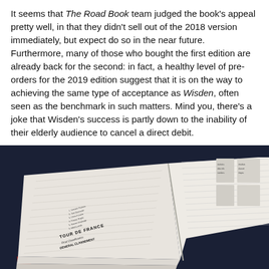It seems that The Road Book team judged the book's appeal pretty well, in that they didn't sell out of the 2018 version immediately, but expect do so in the near future. Furthermore, many of those who bought the first edition are already back for the second: in fact, a healthy level of pre-orders for the 2019 edition suggest that it is on the way to achieving the same type of acceptance as Wisden, often seen as the benchmark in such matters. Mind you, there's a joke that Wisden's success is partly down to the inability of their elderly audience to cancel a direct debit.
[Figure (photo): Open book/road book showing Tour de France results pages with dense tabular statistics, lying on a dark navy background with a red spine visible at bottom left.]